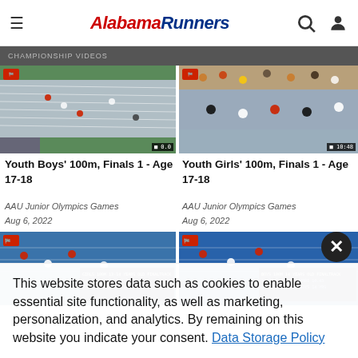AlabamaRunners
Youth Boys' 100m, Finals 1 - Age 17-18
AAU Junior Olympics Games
Aug 6, 2022
Youth Girls' 100m, Finals 1 - Age 17-18
AAU Junior Olympics Games
Aug 6, 2022
[Figure (screenshot): Track and field race screenshot - bottom row third card]
[Figure (screenshot): Track and field race screenshot - bottom row fourth card]
This website stores data such as cookies to enable essential site functionality, as well as marketing, personalization, and analytics. By remaining on this website you indicate your consent. Data Storage Policy